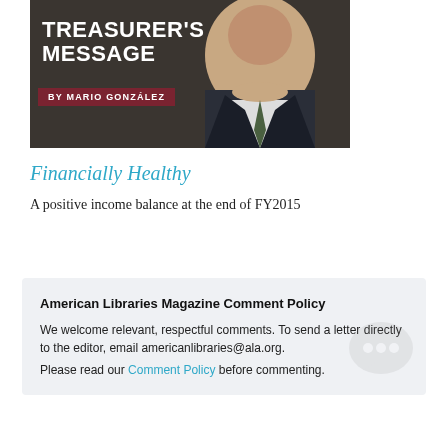[Figure (photo): Photo of Mario González overlaid with 'TREASURER'S MESSAGE' title and 'BY MARIO GONZÁLEZ' byline on dark background]
Financially Healthy
A positive income balance at the end of FY2015
American Libraries Magazine Comment Policy
We welcome relevant, respectful comments. To send a letter directly to the editor, email americanlibraries@ala.org.
Please read our Comment Policy before commenting.